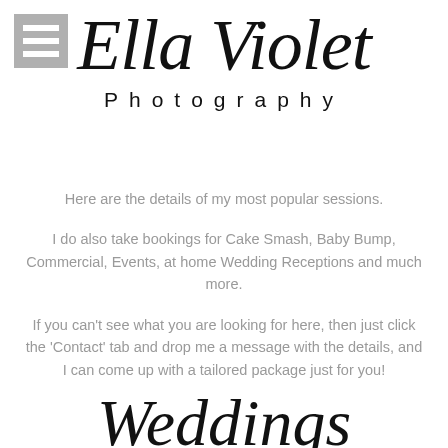[Figure (logo): Ella Violet Photography logo with script font and hamburger menu icon]
Here are the details of my most popular sessions.
I do also take bookings for Cake Smash, Baby Bump, Commercial, Events, at home Wedding Receptions and much more.
If you can't see what you are looking for here, then just click the 'Contact' tab and drop me a message with the details, and I can come up with a tailored package just for you!
Weddings